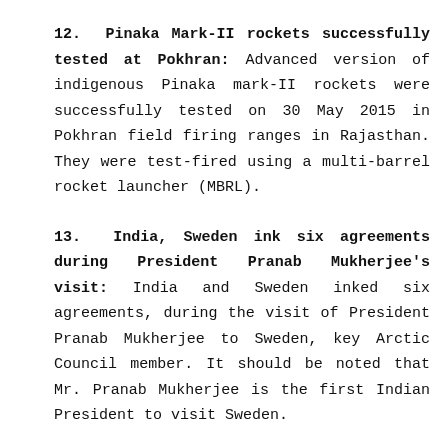12. Pinaka Mark-II rockets successfully tested at Pokhran: Advanced version of indigenous Pinaka mark-II rockets were successfully tested on 30 May 2015 in Pokhran field firing ranges in Rajasthan. They were test-fired using a multi-barrel rocket launcher (MBRL).
13. India, Sweden ink six agreements during President Pranab Mukherjee's visit: India and Sweden inked six agreements, during the visit of President Pranab Mukherjee to Sweden, key Arctic Council member. It should be noted that Mr. Pranab Mukherjee is the first Indian President to visit Sweden.
14. Sweden backs India bid for UNSC MTCR memberships: